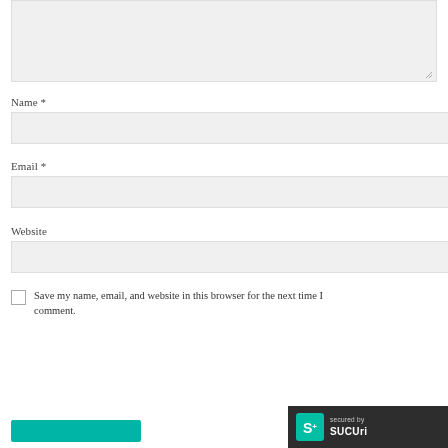[Figure (screenshot): A textarea input field with a resize handle in the bottom-right corner, styled with a light gray background]
Name *
[Figure (screenshot): A text input field for Name, styled with a light gray background]
Email *
[Figure (screenshot): A text input field for Email, styled with a light gray background]
Website
[Figure (screenshot): A text input field for Website, styled with a light gray background]
Save my name, email, and website in this browser for the next time I comment.
[Figure (logo): Sucuri security badge — dark background with S+ logo and 'secured by sucuri' text]